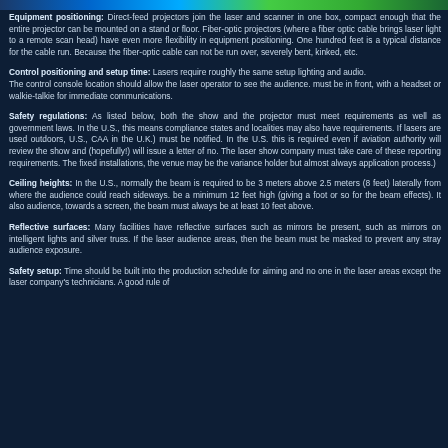[Figure (other): Colored header bar with blue and green gradient]
Equipment positioning: Direct-feed projectors join the laser and scanner in one box, compact enough that the entire projector can be mounted on a stand or floor. Fiber-optic projectors (where a fiber optic cable brings laser light to a remote scan head) have even more flexibility in equipment positioning. One hundred feet is a typical distance for the cable run. Because the fiber-optic cable can not be run over, severely bent, kinked, etc.
Control positioning and setup time: Lasers require roughly the same setup considerations as lighting and audio. The control console location should allow the laser operator to see the audience. The operator must be in front, with a headset or walkie-talkie for immediate communications.
Safety regulations: As listed below, both the show and the projector must meet safety requirements as well as government laws. In the U.S., this means compliance with FDA/CDRH regulations; states and localities may also have requirements. If lasers are used outdoors, an aviation authority (FAA in the U.S., CAA in the U.K.) must be notified. In the U.S. this is required even if there are no airports. The aviation authority will review the show and (hopefully!) will issue a letter of no objection or a variance. The laser show company must take care of these reporting requirements. The company holds the variance. (For fixed installations, the venue may be the variance holder but almost always the laser company manages the application process.)
Ceiling heights: In the U.S., normally the beam is required to be 3 meters (about 10 feet) above the audience, and 2.5 meters (8 feet) laterally from where the audience could reach sideways. So if there is an audience below, the ceiling must be a minimum 12 feet high (giving a foot or so for the beam effects). It also means if the beam goes over the audience, towards a screen, the beam must always be at least 10 feet above the floor.
Reflective surfaces: Many facilities have reflective surfaces such as mirrors or highly polished floors. Others may be present, such as mirrors on intelligent lights and silver truss. If the laser beams could reflect into audience areas, then the beam must be masked to prevent any stray audience exposure.
Safety setup: Time should be built into the production schedule for aiming and safety setup. There must be no one in the laser areas except the laser company's technicians. A good rule of thumb is